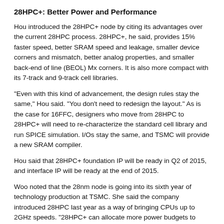28HPC+: Better Power and Performance
Hou introduced the 28HPC+ node by citing its advantages over the current 28HPC process. 28HPC+, he said, provides 15% faster speed, better SRAM speed and leakage, smaller device corners and mismatch, better analog properties, and smaller back-end of line (BEOL) Mx corners. It is also more compact with its 7-track and 9-track cell libraries.
"Even with this kind of advancement, the design rules stay the same," Hou said. "You don't need to redesign the layout." As is the case for 16FFC, designers who move from 28HPC to 28HPC+ will need to re-characterize the standard cell library and run SPICE simulation. I/Os stay the same, and TSMC will provide a new SRAM compiler.
Hou said that 28HPC+ foundation IP will be ready in Q2 of 2015, and interface IP will be ready at the end of 2015.
Woo noted that the 28nm node is going into its sixth year of technology production at TSMC. She said the company introduced 28HPC last year as a way of bringing CPUs up to 2GHz speeds. "28HPC+ can allocate more power budgets to push the CPU performance, such that you can significantly increase the speed to be over 2GHz at the same power